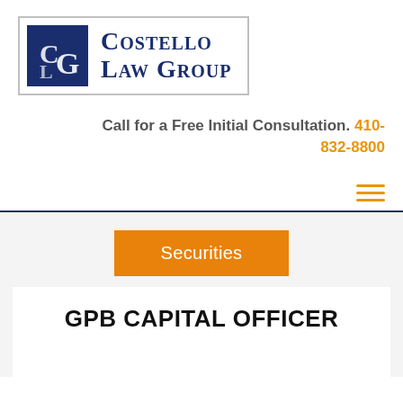[Figure (logo): Costello Law Group logo with blue square icon containing CLG monogram and serif text 'Costello Law Group' in dark navy blue, enclosed in a light gray rectangular border]
Call for a Free Initial Consultation. 410-832-8800
[Figure (other): Orange hamburger menu icon (three horizontal lines)]
Securities
GPB CAPITAL OFFICER